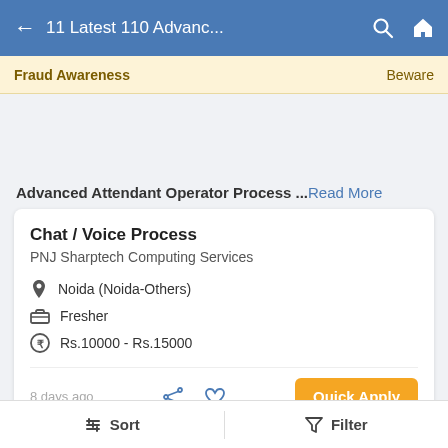← 11 Latest 110 Advanc...
Fraud Awareness   Beware
Advanced Attendant Operator Process ... Read More
Chat / Voice Process
PNJ Sharptech Computing Services
Noida (Noida-Others)
Fresher
Rs.10000 - Rs.15000
8 days ago
Quick Apply
Sort   Filter